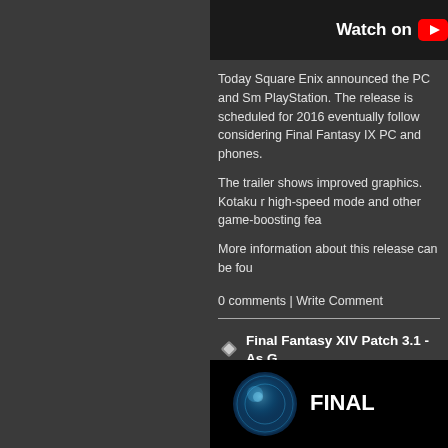[Figure (screenshot): Watch on YouTube button/bar with white text and YouTube icon on black background]
Today Square Enix announced the PC and Sm PlayStation. The release is scheduled for 2016 eventually follow considering Final Fantasy IX PC and phones.
The trailer shows improved graphics. Kotaku r high-speed mode and other game-boosting fea
More information about this release can be fou
0 comments | Write Comment
Final Fantasy XIV Patch 3.1 - As G
October 25, 2015, 12:45:17 PM by Chaos
Final Fantasy XIV's producer Naoki Yoshida a Goes Light, So Goes Darkness.
[Figure (screenshot): Final Fantasy XIV game logo/thumbnail with blue crystal sphere and FINAL text on dark background]